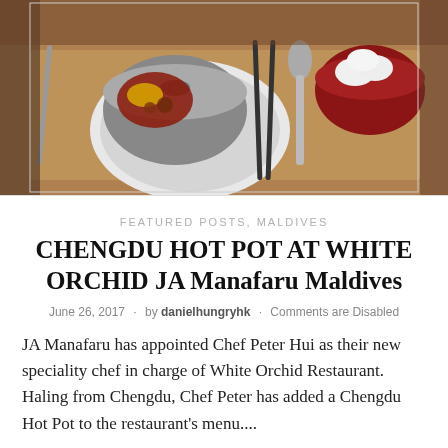[Figure (photo): Overhead view of a hot pot meal on a table with chopsticks, spoon, and side dishes including white dumplings in a red bowl]
FEATURED POSTS, MALDIVES
CHENGDU HOT POT AT WHITE ORCHID JA Manafaru Maldives
June 26, 2017 · by danielhungryhk · Comments are Disabled
JA Manafaru has appointed Chef Peter Hui as their new speciality chef in charge of White Orchid Restaurant. Haling from Chengdu, Chef Peter has added a Chengdu Hot Pot to the restaurant's menu....